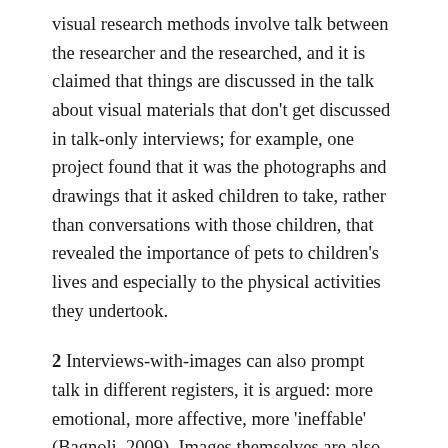visual research methods involve talk between the researcher and the researched, and it is claimed that things are discussed in the talk about visual materials that don't get discussed in talk-only interviews; for example, one project found that it was the photographs and drawings that it asked children to take, rather than conversations with those children, that revealed the importance of pets to children's lives and especially to the physical activities they undertook.
2 Interviews-with-images can also prompt talk in different registers, it is argued: more emotional, more affective, more 'ineffable' (Bagnoli, 2009). Images themselves are also argued to be especially effective at describing the 'ineffable'. Marcus Banks suggests that one strength of the photo-essay format, is its ability to offer a sense of the subjective experiencing of a social